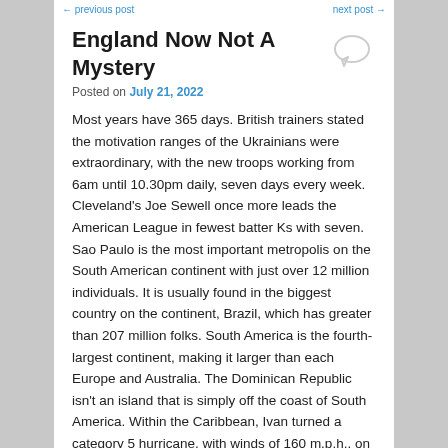← previous post    next post →
England Now Not A Mystery
Posted on July 21, 2022
Most years have 365 days. British trainers stated the motivation ranges of the Ukrainians were extraordinary, with the new troops working from 6am until 10.30pm daily, seven days every week. Cleveland's Joe Sewell once more leads the American League in fewest batter Ks with seven. Sao Paulo is the most important metropolis on the South American continent with just over 12 million individuals. It is usually found in the biggest country on the continent, Brazil, which has greater than 207 million folks. South America is the fourth-largest continent, making it larger than each Europe and Australia. The Dominican Republic isn't an island that is simply off the coast of South America. Within the Caribbean, Ivan turned a category 5 hurricane, with winds of 160 m.p.h., on the 9th